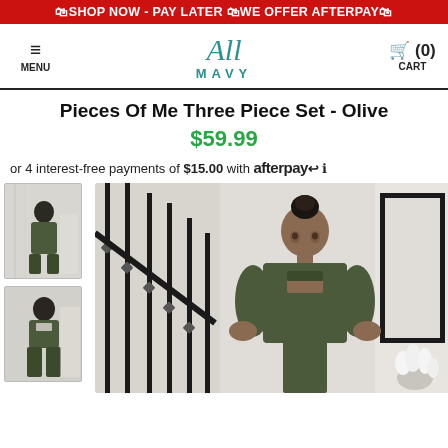🛍SHOP NOW - PAY LATER 🛍WE OFFER AFTERPAY🛍
[Figure (logo): All Mavy brand logo with stylized script 'All' above 'MAVY' in teal]
Pieces Of Me Three Piece Set - Olive
$59.99
or 4 interest-free payments of $15.00 with afterpay ℹ
[Figure (photo): Thumbnail: Model wearing olive three piece set, standing on staircase]
[Figure (photo): Thumbnail: Closer view of model wearing olive set showing top and skirt]
[Figure (photo): Main product photo: Model wearing olive three piece cutout set standing near staircase with white floral arrangement]